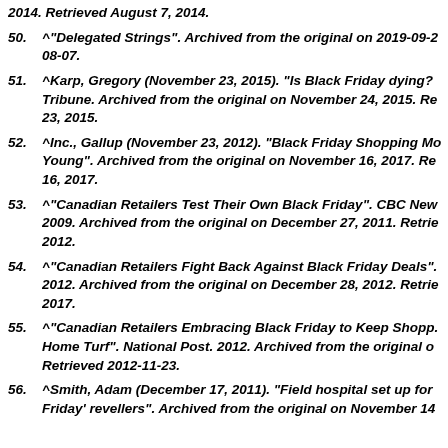2014. Retrieved August 7, 2014.
50. ^"Delegated Strings". Archived from the original on 2019-09-2 08-07.
51. ^Karp, Gregory (November 23, 2015). "Is Black Friday dying?" Tribune. Archived from the original on November 24, 2015. Re 23, 2015.
52. ^Inc., Gallup (November 23, 2012). "Black Friday Shopping Mo Young". Archived from the original on November 16, 2017. Re 16, 2017.
53. ^"Canadian Retailers Test Their Own Black Friday". CBC New 2009. Archived from the original on December 27, 2011. Retrie 2012.
54. ^"Canadian Retailers Fight Back Against Black Friday Deals". 2012. Archived from the original on December 28, 2012. Retrie 2017.
55. ^"Canadian Retailers Embracing Black Friday to Keep Shopp. Home Turf". National Post. 2012. Archived from the original o Retrieved 2012-11-23.
56. ^Smith, Adam (December 17, 2011). "Field hospital set up for Friday' revellers". Archived from the original on November 14